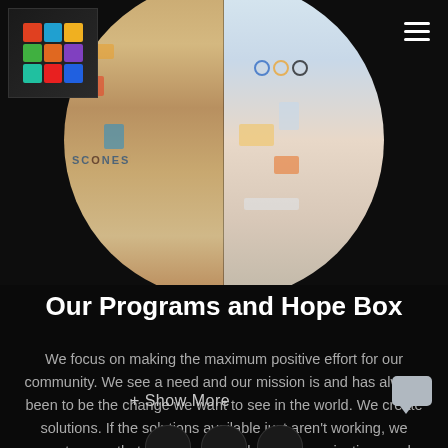[Figure (photo): Circular collage of photos showing community activities and items, with a small logo thumbnail in the top-left corner and a hamburger menu icon in the top-right]
Our Programs and Hope Box
We focus on making the maximum positive effort for our community. We see a need and our mission is and has always been to be the change we want to see in the world. We create solutions. If the solutions available just aren't working, we create ones that do. We work with other organizations and nonprofits, we join forces with communities a
+ Show More